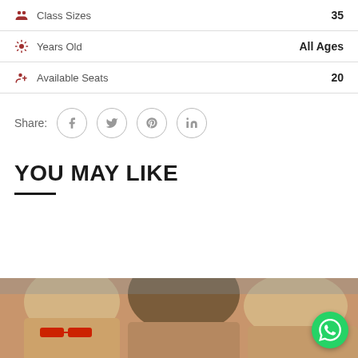Class Sizes   35
Years Old   All Ages
Available Seats   20
Share:
YOU MAY LIKE
[Figure (photo): Children's heads/faces photo strip at bottom of page with WhatsApp button overlay]